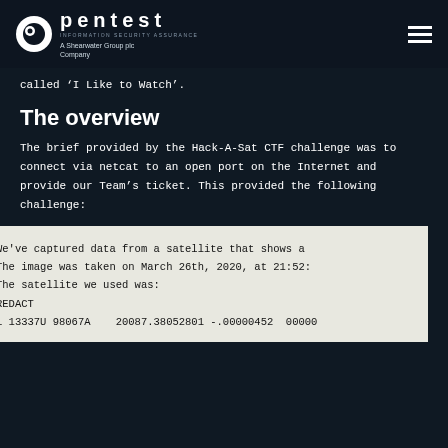pentest INFORMATION SECURITY ASSURANCE A Shearwater Group plc Company
called ‘I Like to Watch’.
The overview
The brief provided by the Hack-A-Sat CTF challenge was to connect via netcat to an open port on the Internet and provide our Team’s ticket. This provided the following challenge:
We've captured data from a satellite that shows a
The image was taken on March 26th, 2020, at 21:52:
The satellite we used was:
REDACT
1 13337U 98067A    20087.38052801 -.00000452  00000